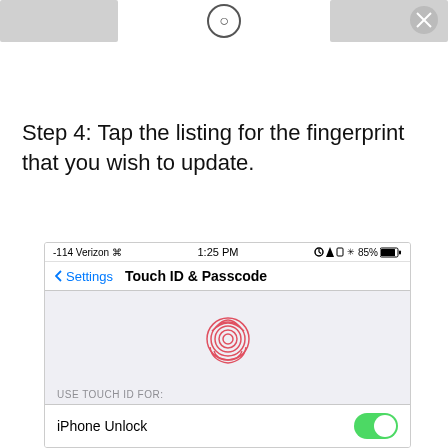[Figure (screenshot): Partial screenshots from a previous step showing iOS interface elements — left and right gray bars, center icon]
Step 4: Tap the listing for the fingerprint that you wish to update.
[Figure (screenshot): iOS Touch ID & Passcode settings screen showing status bar with -114 Verizon, 1:25 PM, 85% battery, Settings back button, Touch ID & Passcode title, fingerprint icon in pink/red, USE TOUCH ID FOR section label, and iPhone Unlock toggle set to ON (green)]